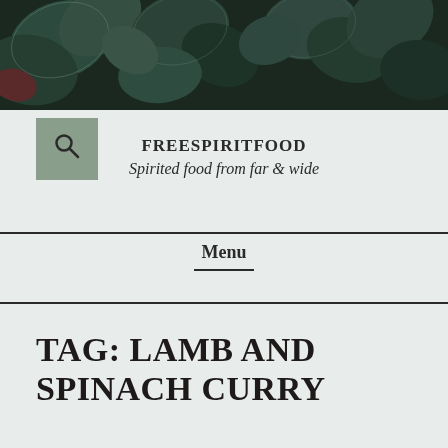[Figure (photo): Close-up photograph of dark green succulent plants with rounded leaves, viewed from above against a dark background.]
[Figure (other): Search icon (magnifying glass) inside a sage green square button.]
FREESPIRITFOOD
Spirited food from far & wide
Menu
TAG: LAMB AND SPINACH CURRY